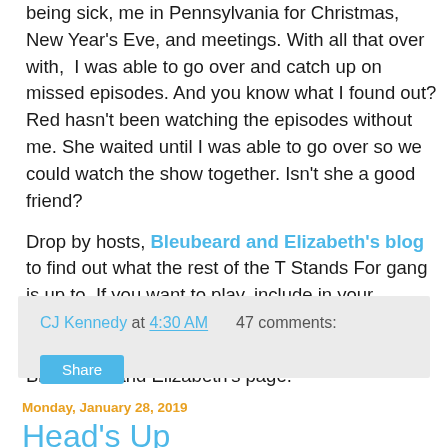being sick, me in Pennsylvania for Christmas, New Year's Eve, and meetings. With all that over with,  I was able to go over and catch up on missed episodes. And you know what I found out? Red hasn't been watching the episodes without me. She waited until I was able to go over so we could watch the show together. Isn't she a good friend?
Drop by hosts, Bleubeard and Elizabeth's blog to find out what the rest of the T Stands For gang is up to. If you want to play, include in your Tuesday post a beverage or container for a beverage. Don't forget to link your blog to Bleubeard and Elizabeth's page.
CJ Kennedy at 4:30 AM    47 comments:
Share
Monday, January 28, 2019
Head's Up